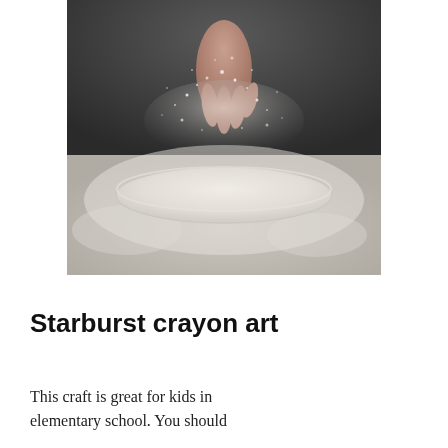[Figure (photo): A hand sprinkling flour over a flattened round dough on a dark surface, with flour dust suspended in the air above.]
Starburst crayon art
This craft is great for kids in elementary school. You should